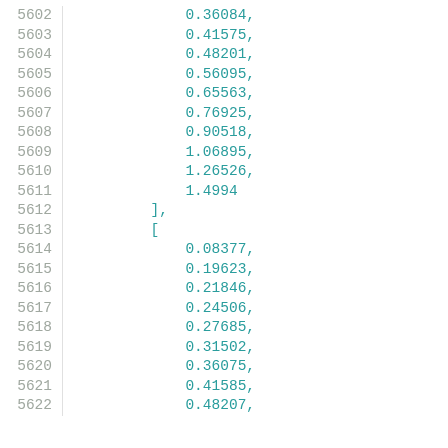5602    0.36084,
5603    0.41575,
5604    0.48201,
5605    0.56095,
5606    0.65563,
5607    0.76925,
5608    0.90518,
5609    1.06895,
5610    1.26526,
5611    1.4994
5612    ],
5613    [
5614        0.08377,
5615        0.19623,
5616        0.21846,
5617        0.24506,
5618        0.27685,
5619        0.31502,
5620        0.36075,
5621        0.41585,
5622        0.48207,